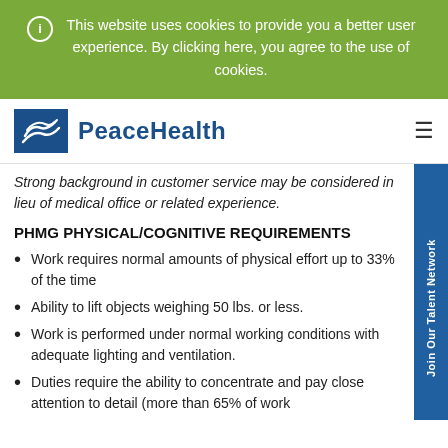This website uses cookies to provide you a better user experience. By clicking here, you agree to the use of cookies.
[Figure (logo): PeaceHealth logo with blue box containing white wave/dove icon and 'PeaceHealth' text in blue]
Strong background in customer service may be considered in lieu of medical office or related experience.
PHMG PHYSICAL/COGNITIVE REQUIREMENTS
Work requires normal amounts of physical effort up to 33% of the time
Ability to lift objects weighing 50 lbs. or less.
Work is performed under normal working conditions with adequate lighting and ventilation.
Duties require the ability to concentrate and pay close attention to detail (more than 65% of work